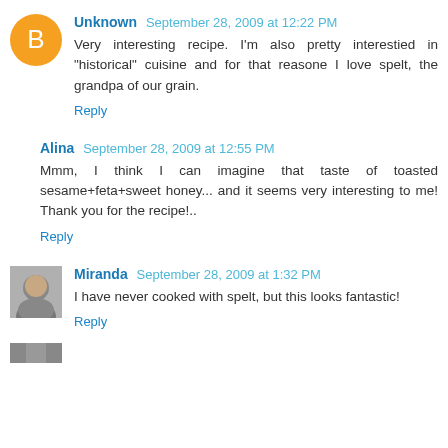Unknown September 28, 2009 at 12:22 PM
Very interesting recipe. I'm also pretty interestied in "historical" cuisine and for that reasone I love spelt, the grandpa of our grain.
Reply
Alina September 28, 2009 at 12:55 PM
Mmm, I think I can imagine that taste of toasted sesame+feta+sweet honey... and it seems very interesting to me! Thank you for the recipe!..
Reply
Miranda September 28, 2009 at 1:32 PM
I have never cooked with spelt, but this looks fantastic!
Reply